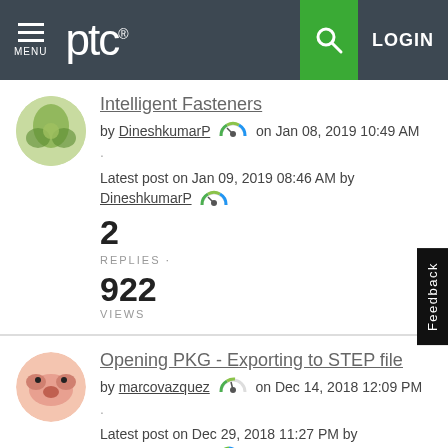ptc — MENU | LOGIN
Intelligent Fasteners
by DineshkumarP on Jan 08, 2019 10:49 AM · Latest post on Jan 09, 2019 08:46 AM by DineshkumarP
2 REPLIES . 922 VIEWS
Opening PKG - Exporting to STEP file
by marcovazquez on Dec 14, 2018 12:09 PM · Latest post on Dec 29, 2018 11:27 PM by SmallCrucianCar
4 REPLIES